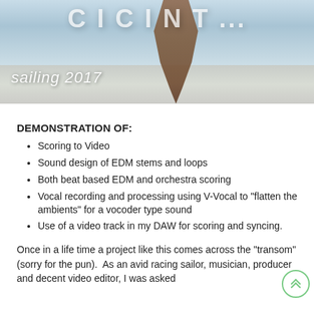[Figure (photo): Banner image with text 'sailing 2017' overlaid on a snowy/sandy landscape scene with a brown sculptural shape in the center. Partial title text visible at top.]
DEMONSTRATION OF:
Scoring to Video
Sound design of EDM stems and loops
Both beat based EDM and orchestra scoring
Vocal recording and processing using V-Vocal to "flatten the ambients" for a vocoder type sound
Use of a video track in my DAW for scoring and syncing.
Once in a life time a project like this comes across the "transom" (sorry for the pun).  As an avid racing sailor, musician, producer and decent video editor, I was asked